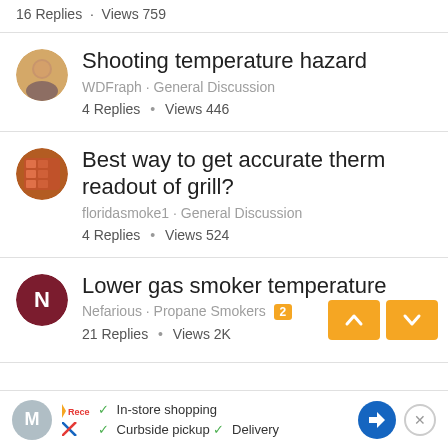16 Replies · Views 759
Shooting temperature hazard
WDFraph · General Discussion
4 Replies · Views 446
Best way to get accurate therm readout of grill?
floridasmoke1 · General Discussion
4 Replies · Views 524
Lower gas smoker temperature
Nefarious · Propane Smokers 2
21 Replies · Views 2K
[Figure (screenshot): Ad bar at bottom with store shopping icons and navigation arrow]